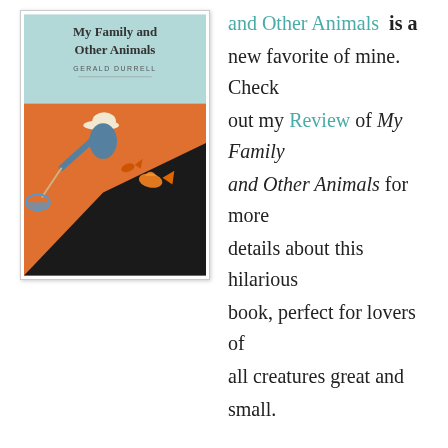[Figure (illustration): Book cover of 'My Family and Other Animals' by Gerald Durrell. Light teal/mint top section with title text, orange lower section showing a boy in a hat crouching and using a net to catch fish.]
and Other Animals is a new favorite of mine. Check out my Review of My Family and Other Animals for more details about this hilarious book, perfect for lovers of all creatures great and small.